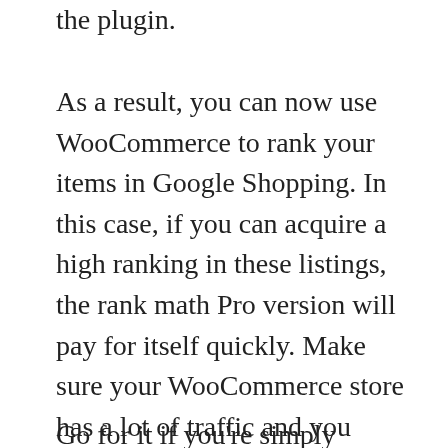the plugin.
As a result, you can now use WooCommerce to rank your items in Google Shopping. In this case, if you can acquire a high ranking in these listings, the rank math Pro version will pay for itself quickly. Make sure your WooCommerce store has a lot of traffic and you want to attract more people looking at your items by using the WooCommerce Google Shopping tab. If you can afford it, go for the Pro version. A WordPress website builder who works on several client projects should have this one in their toolkit.
Go for it if you're simply printing for yourself